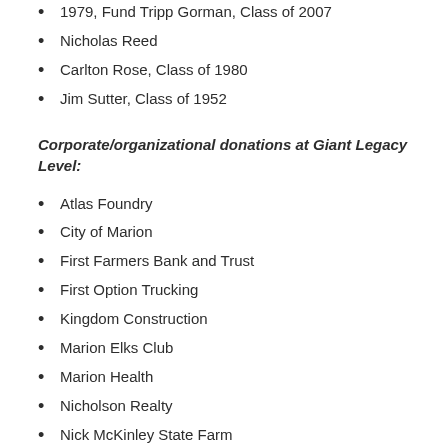1979, Fund Tripp Gorman, Class of 2007
Nicholas Reed
Carlton Rose, Class of 1980
Jim Sutter, Class of 1952
Corporate/organizational donations at Giant Legacy Level:
Atlas Foundry
City of Marion
First Farmers Bank and Trust
First Option Trucking
Kingdom Construction
Marion Elks Club
Marion Health
Nicholson Realty
Nick McKinley State Farm
Ronald Morrell for Mayor
VIA Credit Union